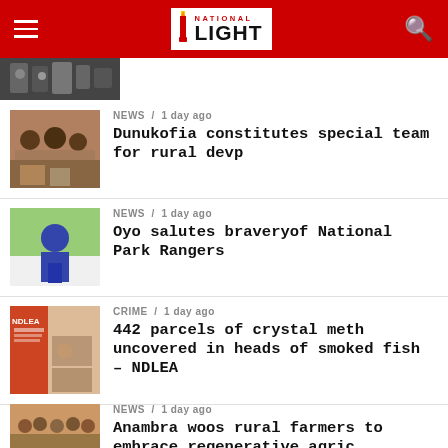National Light
[Figure (photo): Partial news article photo at top, cropped]
NEWS / 1 day ago — Dunukofia constitutes special team for rural devp
NEWS / 1 day ago — Oyo salutes braveryof National Park Rangers
CRIME / 1 day ago — 442 parcels of crystal meth uncovered in heads of smoked fish – NDLEA
NEWS / 1 day ago — Anambra woos rural farmers to embrace regenerative agric